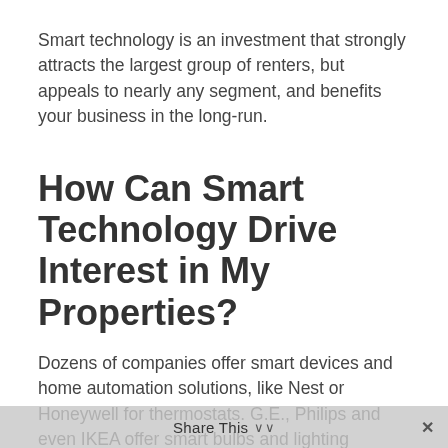Smart technology is an investment that strongly attracts the largest group of renters, but appeals to nearly any segment, and benefits your business in the long-run.
How Can Smart Technology Drive Interest in My Properties?
Dozens of companies offer smart devices and home automation solutions, like Nest or Honeywell for thermostats. G.E., Philips and even IKEA offer smart bulbs and lighting systems at various levels of sophistication.
For relatively cheaply, you can outfit your rental properties with one or two of the smart technology options above which will lead to less turnover, less vacancies, and highe…
Share This